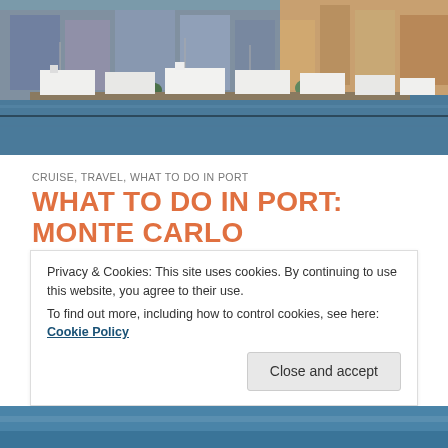[Figure (photo): Aerial view of Monte Carlo harbour with yachts moored along the waterfront and colourful buildings in the background]
CRUISE, TRAVEL, WHAT TO DO IN PORT
WHAT TO DO IN PORT: MONTE CARLO
Hi my lovely readers! Monte Carlo is an administrative area of the Principality of Monaco located along the French Riviera. Monaco itself is one of the smallest countries in the world with a land border of around 6km and is run by the royal family, the Grimaldi's. To the
Privacy & Cookies: This site uses cookies. By continuing to use this website, you agree to their use.
To find out more, including how to control cookies, see here: Cookie Policy
[Figure (photo): Bottom portion of another photo showing water and possibly a boat, partially visible]